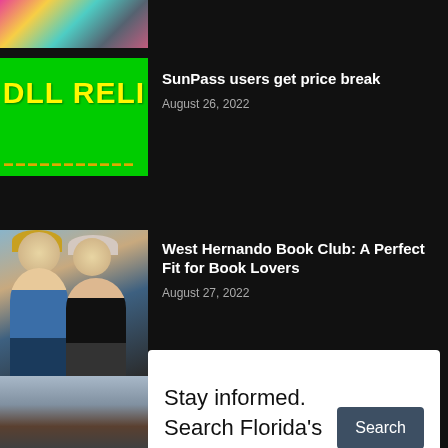[Figure (photo): Partial colorful abstract image at top left, clipped]
[Figure (photo): Green background sign reading 'OLL RELI' (toll relief), partially cropped]
SunPass users get price break
August 26, 2022
[Figure (photo): Two women standing together, one with blonde hair in blue top, one in dark jacket, at what appears to be a bookshelf backdrop]
West Hernando Book Club: A Perfect Fit for Book Lovers
August 27, 2022
POPU
[Figure (photo): Partial outdoor photo showing stacked lumber or bricks, lower left]
Stay informed. Search Florida's public notices.
Search